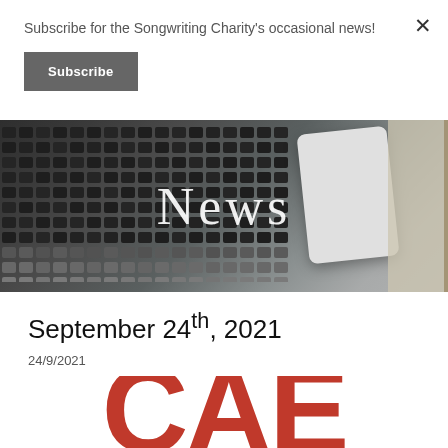Subscribe for the Songwriting Charity's occasional news!
Subscribe
[Figure (photo): Hero banner showing a laptop keyboard and white smartphone/phone on the right side, with the word 'News' overlaid in white text]
September 24th, 2021
24/9/2021
[Figure (logo): Partial CAE logo in large bold dark red/orange letters, cut off at the bottom of the page]